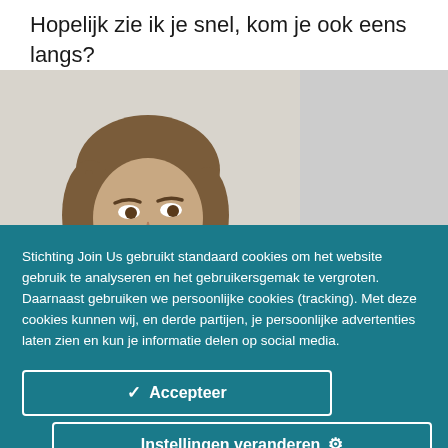Hopelijk zie ik je snel, kom je ook eens langs?
[Figure (photo): Partial photo of a person (woman) with brown hair, cropped, shown from approximately shoulders to top of head, partially cut off by the cookie consent overlay.]
Stichting Join Us gebruikt standaard cookies om het website gebruik te analyseren en het gebruikersgemak te vergroten. Daarnaast gebruiken we persoonlijke cookies (tracking). Met deze cookies kunnen wij, en derde partijen, je persoonlijke advertenties laten zien en kun je informatie delen op social media.
✓  Accepteer
Instellingen veranderen  ⚙